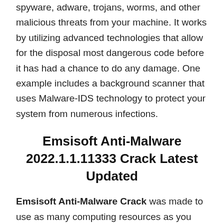spyware, adware, trojans, worms, and other malicious threats from your machine. It works by utilizing advanced technologies that allow for the disposal most dangerous code before it has had a chance to do any damage. One example includes a background scanner that uses Malware-IDS technology to protect your system from numerous infections.
Emsisoft Anti-Malware 2022.1.1.11333 Crack Latest Updated
Emsisoft Anti-Malware Crack was made to use as many computing resources as you can. That is because your computer is much like you. Like you, it may only perform so many jobs at the same time, and if it gets overloaded, it's going to crash. Emsisoft Anti-Malware joined among